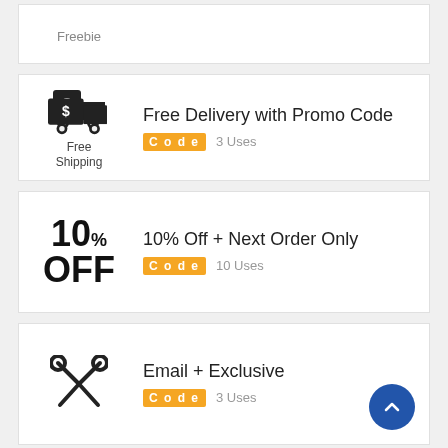Freebie
Free Delivery with Promo Code
Code  3 Uses
10% Off + Next Order Only
Code  10 Uses
Email + Exclusive
Code  3 Uses
25% Off + Site Wide + Entire Order